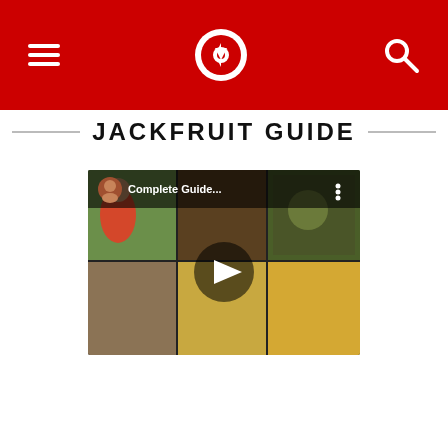Navigation bar with hamburger menu, logo icon, and search icon
JACKFRUIT GUIDE
[Figure (screenshot): YouTube video thumbnail for 'Complete Guide...' showing a 2x3 grid of jackfruit-related images with a play button overlay and video title bar at top with avatar.]